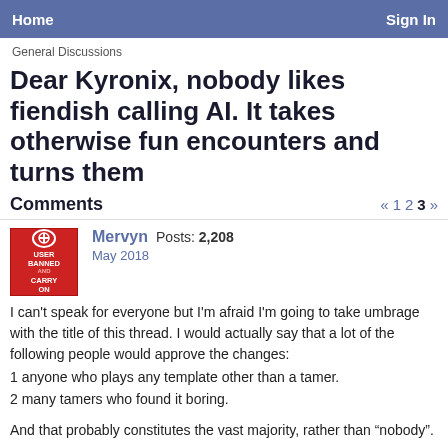Home   Sign In
General Discussions
Dear Kyronix, nobody likes fiendish calling AI. It takes otherwise fun encounters and turns them
Comments
« 1 2 3 »
Mervyn  Posts: 2,208
May 2018
I can't speak for everyone but I'm afraid I'm going to take umbrage with the title of this thread. I would actually say that a lot of the following people would approve the changes:
1 anyone who plays any template other than a tamer.
2 many tamers who found it boring.
And that probably constitutes the vast majority, rather than “nobody”.
MissE  Posts: 774